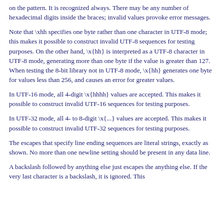on the pattern. It is recognized always. There may be any number of hexadecimal digits inside the braces; invalid values provoke error messages.
Note that \xhh specifies one byte rather than one character in UTF-8 mode; this makes it possible to construct invalid UTF-8 sequences for testing purposes. On the other hand, \x{hh} is interpreted as a UTF-8 character in UTF-8 mode, generating more than one byte if the value is greater than 127. When testing the 8-bit library not in UTF-8 mode, \x{hh} generates one byte for values less than 256, and causes an error for greater values.
In UTF-16 mode, all 4-digit \x{hhhh} values are accepted. This makes it possible to construct invalid UTF-16 sequences for testing purposes.
In UTF-32 mode, all 4- to 8-digit \x{...} values are accepted. This makes it possible to construct invalid UTF-32 sequences for testing purposes.
The escapes that specify line ending sequences are literal strings, exactly as shown. No more than one newline setting should be present in any data line.
A backslash followed by anything else just escapes the anything else. If the very last character is a backslash, it is ignored. This